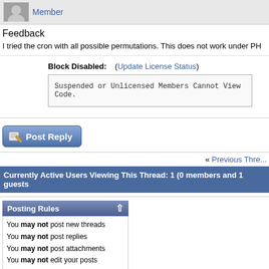Member
Feedback
I tried the cron with all possible permutations. This does not work under PH
Block Disabled: (Update License Status)
Suspended or Unlicensed Members Cannot View Code.
[Figure (screenshot): Post Reply button with pencil icon]
« Previous Thread
Currently Active Users Viewing This Thread: 1 (0 members and 1 guests)
Posting Rules
You may not post new threads
You may not post replies
You may not post attachments
You may not edit your posts